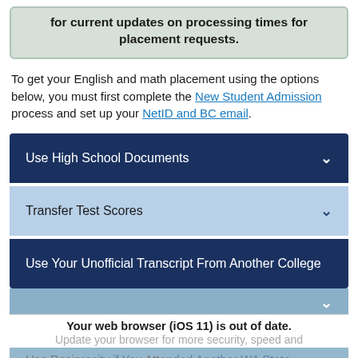for current updates on processing times for placement requests.
To get your English and math placement using the options below, you must first complete the New Student Admission process and set up your NetID and BC email.
Use High School Documents
Transfer Test Scores
Use Your Unofficial Transcript From Another College
Your web browser (iOS 11) is out of date.
Update your browser for more security, speed and
Use Reciprocity if You Attended Another WA State